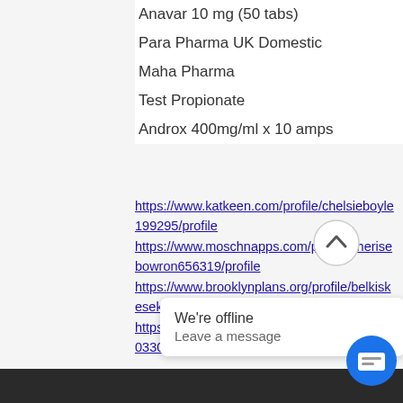Anavar 10 mg (50 tabs)
Para Pharma UK Domestic
Maha Pharma
Test Propionate
Androx 400mg/ml x 10 amps
https://www.katkeen.com/profile/chelsieboyle199295/profile https://www.moschnapps.com/profile/sherisebowron656319/profile https://www.brooklynplans.org/profile/belkiskesek1493523/profile https://www.ickcorea.com/profile/chongy1603302/profile
We're offline
Leave a message